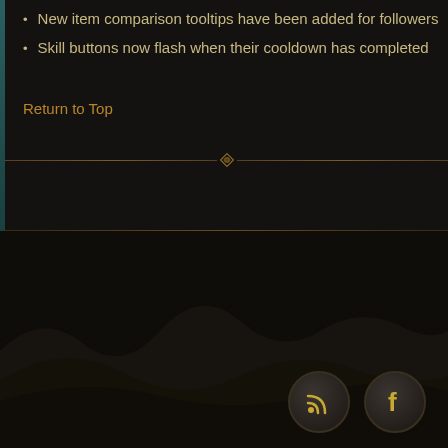New item comparison tooltips have been added for followers
Skill buttons now flash when their cooldown has completed
Return to Top
[Figure (other): Decorative horizontal divider with a diamond/eye shape in the center, gold/brown color on dark background]
[Figure (other): Simple horizontal rule divider, gold/brown on dark background]
[Figure (other): Dark textured background with cloth/fabric wave design in lower portion of page, with RSS and Facebook social media icons in bottom right corner]